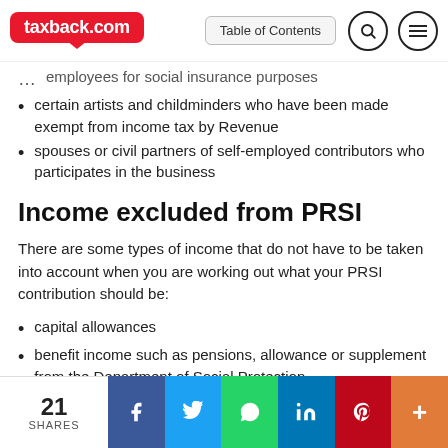taxback.com | Table of Contents
employees for social insurance purposes
certain artists and childminders who have been made exempt from income tax by Revenue
spouses or civil partners of self-employed contributors who participates in the business
Income excluded from PRSI
There are some types of income that do not have to be taken into account when you are working out what your PRSI contribution should be:
capital allowances
benefit income such as pensions, allowance or supplement from the Department of Social Protection
occupational pensions
21 SHARES | Facebook | Twitter | WhatsApp | LinkedIn | Pinterest | More